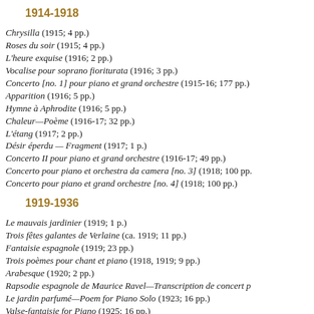1914-1918
Chrysilla (1915; 4 pp.)
Roses du soir (1915; 4 pp.)
L'heure exquise (1916; 2 pp.)
Vocalise pour soprano fioriturata (1916; 3 pp.)
Concerto [no. 1] pour piano et grand orchestre (1915-16; 177 pp.)
Apparition (1916; 5 pp.)
Hymne à Aphrodite (1916; 5 pp.)
Chaleur—Poème (1916-17; 32 pp.)
L'étang (1917; 2 pp.)
Désir éperdu — Fragment (1917; 1 p.)
Concerto II pour piano et grand orchestre (1916-17; 49 pp.)
Concerto pour piano et orchestra da camera [no. 3] (1918; 100 pp.)
Concerto pour piano et grand orchestre [no. 4] (1918; 100 pp.)
1919-1936
Le mauvais jardinier (1919; 1 p.)
Trois fêtes galantes de Verlaine (ca. 1919; 11 pp.)
Fantaisie espagnole (1919; 23 pp.)
Trois poèmes pour chant et piano (1918, 1919; 9 pp.)
Arabesque (1920; 2 pp.)
Rapsodie espagnole de Maurice Ravel—Transcription de concert p
Le jardin parfumé—Poem for Piano Solo (1923; 16 pp.)
Valse-fantaisie for Piano (1925; 16 pp.)